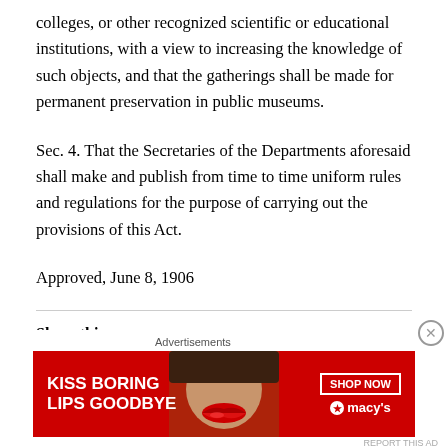colleges, or other recognized scientific or educational institutions, with a view to increasing the knowledge of such objects, and that the gatherings shall be made for permanent preservation in public museums.
Sec. 4. That the Secretaries of the Departments aforesaid shall make and publish from time to time uniform rules and regulations for the purpose of carrying out the provisions of this Act.
Approved, June 8, 1906
Share this:
[Figure (other): Advertisement banner for Macy's cosmetics: red background with text 'KISS BORING LIPS GOODBYE', image of woman's lips, SHOP NOW button, and Macy's star logo]